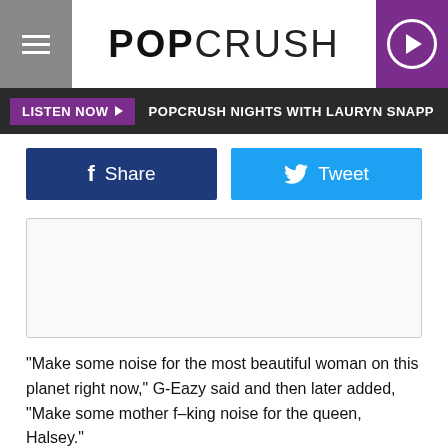POPCRUSH
LISTEN NOW ▶ POPCRUSH NIGHTS WITH LAURYN SNAPP
[Figure (other): Facebook Share button and Twitter Tweet button]
[Figure (other): Placeholder content box]
"Make some noise for the most beautiful woman on this planet right now," G-Eazy said and then later added, "Make some mother f–king noise for the queen, Halsey."
While everyone at the venue went wild during the reunion, things continued to heat up further when they engaged in a kiss that made everyone forget (in that moment) that they ever broke up. Watch below.